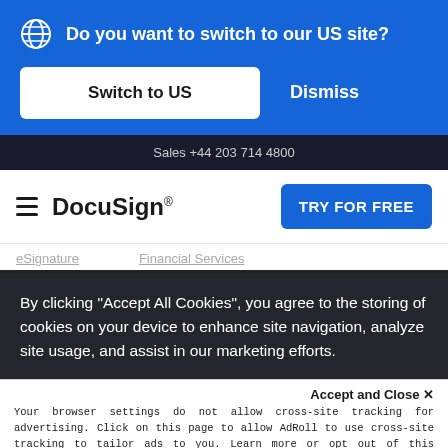[Figure (screenshot): DocuSign website screenshot showing a blue banner with 'Do you want to switch to our US site?' dialog with globe icon, Switch to US button, and Dismiss button.]
Do you want to switch to our US site?
Switch to US
Dismiss
Sales +44 203 714 4800
DocuSign
TRY FOR FREE
eSignature   Financial Services
By clicking “Accept All Cookies”, you agree to the storing of cookies on your device to enhance site navigation, analyze site usage, and assist in our marketing efforts.
Accept and Close ×
Your browser settings do not allow cross-site tracking for advertising. Click on this page to allow AdRoll to use cross-site tracking to tailor ads to you. Learn more or opt out of this AdRoll tracking by clicking here. This message only appears once.